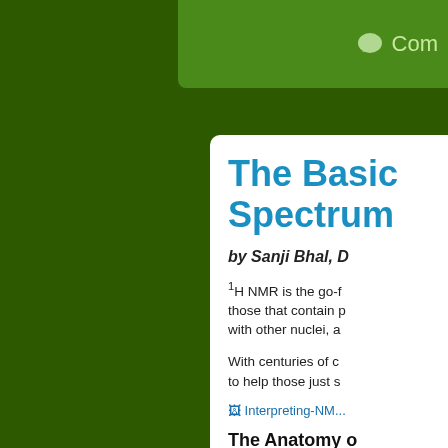Com
The Basic Spectrum
by Sanji Bhal, D
1H NMR is the go-f those that contain p with other nuclei, a
With centuries of c to help those just s
[Figure (other): Interpreting-NMR image link]
The Anatomy o
What is chemi
This is the relative the ways in which s